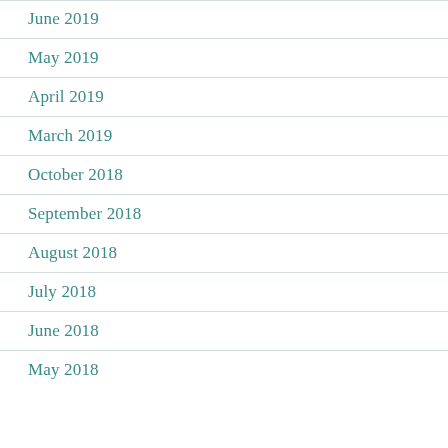June 2019
May 2019
April 2019
March 2019
October 2018
September 2018
August 2018
July 2018
June 2018
May 2018